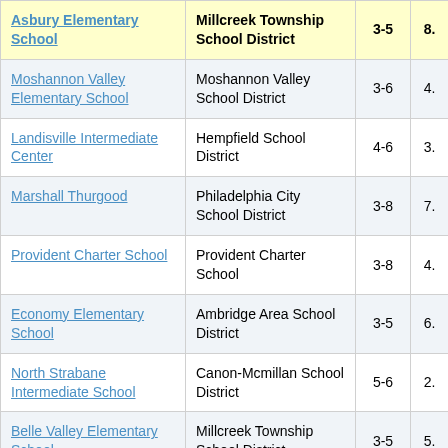| School | District | Grades | Value |
| --- | --- | --- | --- |
| Asbury Elementary School | Millcreek Township School District | 3-5 | 8. |
| Moshannon Valley Elementary School | Moshannon Valley School District | 3-6 | 4. |
| Landisville Intermediate Center | Hempfield School District | 4-6 | 3. |
| Marshall Thurgood | Philadelphia City School District | 3-8 | 7. |
| Provident Charter School | Provident Charter School | 3-8 | 4. |
| Economy Elementary School | Ambridge Area School District | 3-5 | 6. |
| North Strabane Intermediate School | Canon-Mcmillan School District | 5-6 | 2. |
| Belle Valley Elementary School | Millcreek Township School District | 3-5 | 5. |